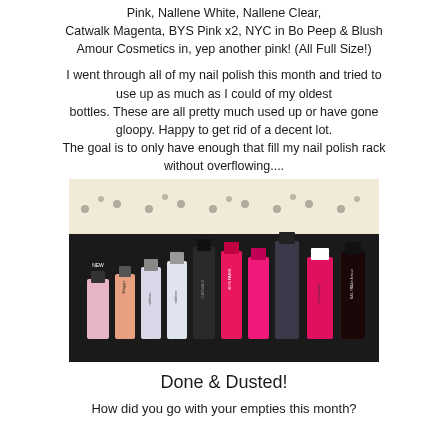Pink, Nallene White, Nallene Clear, Catwalk Magenta, BYS Pink x2, NYC in Bo Peep & Blush Amour Cosmetics in, yep another pink! (All Full Size!)
I went through all of my nail polish this month and tried to use up as much as I could of my oldest bottles. These are all pretty much used up or have gone gloopy. Happy to get rid of a decent lot. The goal is to only have enough that fill my nail polish rack without overflowing....
[Figure (photo): Photo of multiple nail polish bottles arranged on a dark background with white lace doily decoration above them. Bottles include various pink shades, white, clear, and dark polishes from brands including Nallene, Catwalk, BYS, NYC Bo Peep, and Blush Amour.]
Done & Dusted!
How did you go with your empties this month?